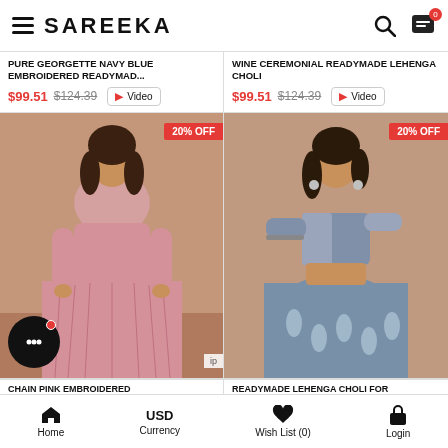SAREEKA
PURE GEORGETTE NAVY BLUE EMBROIDERED READYMAD...
$99.51  $124.39  Video
WINE CEREMONIAL READYMADE LEHENGA CHOLI
$99.51  $124.39  Video
[Figure (photo): Model wearing pink embroidered readymade lehenga choli with 20% OFF badge]
[Figure (photo): Model wearing blue/grey readymade lehenga choli for wedding with 20% OFF badge]
CHAIN PINK EMBROIDERED READYMADE LEHENGA CHO...
READYMADE LEHENGA CHOLI FOR WEDDING
Home  |  USD Currency  |  Wish List (0)  |  Login